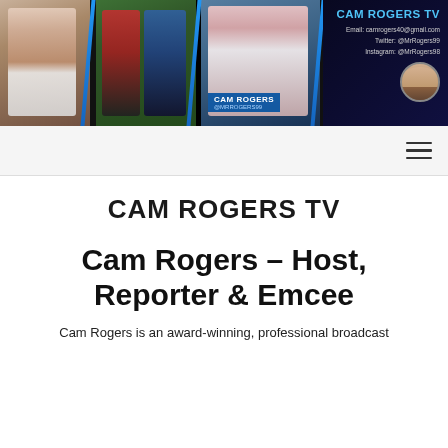[Figure (photo): Banner header image collage showing Cam Rogers TV branding with multiple photos of a TV host/reporter in various broadcast settings, blue diagonal accent lines, and contact information on dark background. Profile photo in circular crop on right side.]
CAM ROGERS TV
Email: camrogers40@gmail.com
Twitter: @MrRogers99
Instagram: @MrRogers98
CAM ROGERS TV
Cam Rogers – Host, Reporter & Emcee
Cam Rogers is an award-winning, professional broadcast